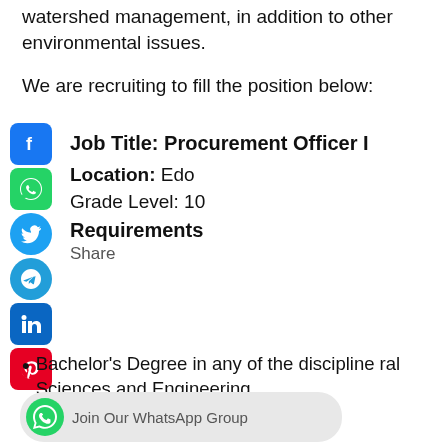watershed management, in addition to other environmental issues.
We are recruiting to fill the position below:
Job Title: Procurement Officer I
Location: Edo
Grade Level: 10
Requirements
Share
Bachelor's Degree in any of the discipline ral Sciences and Engineering.